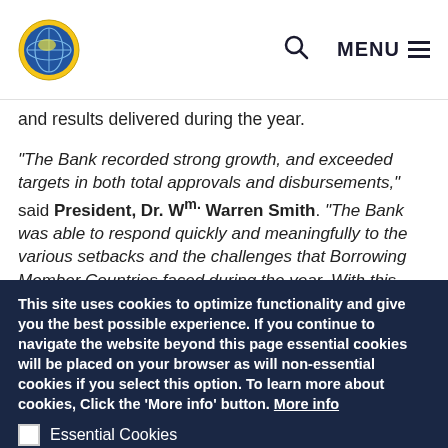CDB logo | Search | MENU
and results delivered during the year.
“The Bank recorded strong growth, and exceeded targets in both total approvals and disbursements,” said President, Dr. Wm. Warren Smith. “The Bank was able to respond quickly and meaningfully to the various setbacks and the challenges that Borrowing Member Countries faced during the year. With this level
This site uses cookies to optimize functionality and give you the best possible experience. If you continue to navigate the website beyond this page essential cookies will be placed on your browser as will non-essential cookies if you select this option. To learn more about cookies, Click the ‘More info’ button. More info
Essential Cookies
Required for functionality and performance of the site.